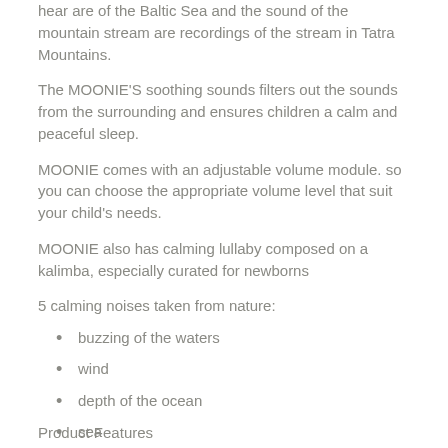hear are of the Baltic Sea and the sound of the mountain stream are recordings of the stream in Tatra Mountains.
The MOONIE'S soothing sounds filters out the sounds from the surrounding and ensures children a calm and peaceful sleep.
MOONIE comes with an adjustable volume module. so you can choose the appropriate volume level that suit your child's needs.
MOONIE also has calming lullaby composed on a kalimba, especially curated for newborns
5 calming noises taken from nature:
buzzing of the waters
wind
depth of the ocean
sea
rain
Product Features